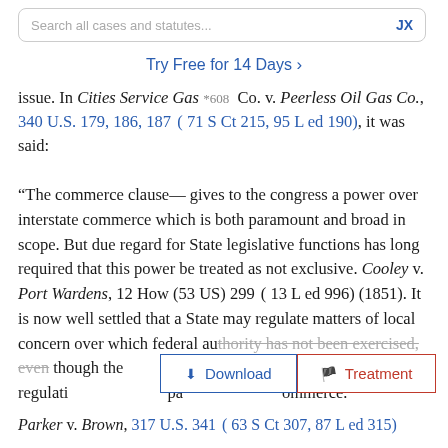Search all cases and statutes...  JX
Try Free for 14 Days >
issue. In Cities Service Gas *608 Co. v. Peerless Oil Gas Co., 340 U.S. 179, 186, 187 ( 71 S Ct 215, 95 L ed 190), it was said:
“The commerce clause— gives to the congress a power over interstate commerce which is both paramount and broad in scope. But due regard for State legislative functions has long required that this power be treated as not exclusive. Cooley v. Port Wardens, 12 How (53 US) 299 ( 13 L ed 996) (1851). It is now well settled that a State may regulate matters of local concern over which federal authority has not been exercised, even though the regulation touches on interstate commerce. Parker v. Brown, 317 U.S. 341 ( 63 S Ct 307, 87 L ed 315)